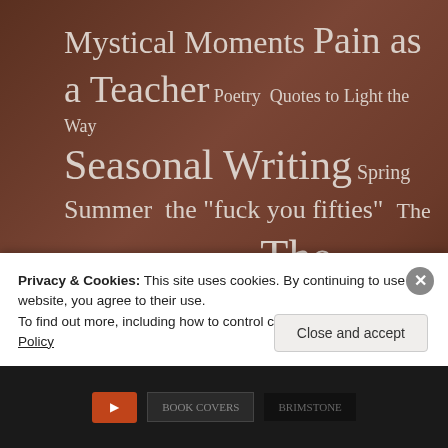Mystical Moments Pain as a Teacher Poetry Quotes to Light the Way Seasonal Writing Spring Summer the "fuck you fifties" The Chicken Wing Series The Divine Feminine The Nest The Nest, a book about home The Voice of the Vagina Uncategorized Winter Yoga
Privacy & Cookies: This site uses cookies. By continuing to use this website, you agree to their use.
To find out more, including how to control cookies, see here: Cookie Policy
Close and accept